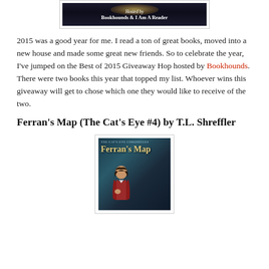[Figure (illustration): Banner image with dark background and glowing light, text reading 'Hosted by Bookhounds & I Am A Reader']
2015 was a good year for me. I read a ton of great books, moved into a new house and made some great new friends. So to celebrate the year, I've jumped on the Best of 2015 Giveaway Hop hosted by Bookhounds. There were two books this year that topped my list. Whoever wins this giveaway will get to chose which one they would like to receive of the two.
Ferran's Map (The Cat's Eye #4) by T.L. Shreffler
[Figure (illustration): Book cover for Ferran's Map (The Cat's Eye Chronicles) showing a young man with dark hair in a red jacket against a dark green/teal background]